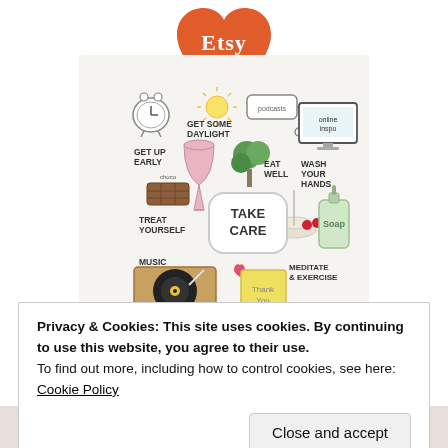[Figure (logo): Etsy heart-shaped orange logo with white text 'Etsy']
[Figure (illustration): Illustrated 'Take Care' self-care wellness poster showing hand-drawn items: alarm clock, sun, podcasts cable, online inspo monitor, wine glass, broccoli, chocolate, candle bowl, soap bottle, record player, thank you journal, yoga mat, with handwritten labels: GET UP EARLY, GET SOME DAYLIGHT, EAT WELL, WASH YOUR HANDS, TREAT YOURSELF, MUSIC, MEDITATE & EXERCISE, GRATITUDE JOURNAL, TAKE CARE]
Privacy & Cookies: This site uses cookies. By continuing to use this website, you agree to their use.
To find out more, including how to control cookies, see here: Cookie Policy
Close and accept